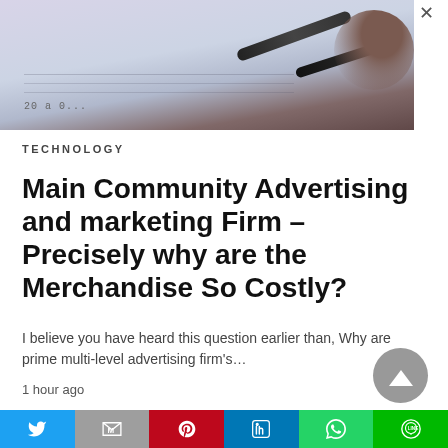[Figure (photo): Photograph of papers/documents on a desk with a pen, purple-toned background, seen from above. A close (X) button is visible at the top right.]
TECHNOLOGY
Main Community Advertising and marketing Firm – Precisely why are the Merchandise So Costly?
I believe you have heard this question earlier than, Why are prime multi-level advertising firm's…
1 hour ago